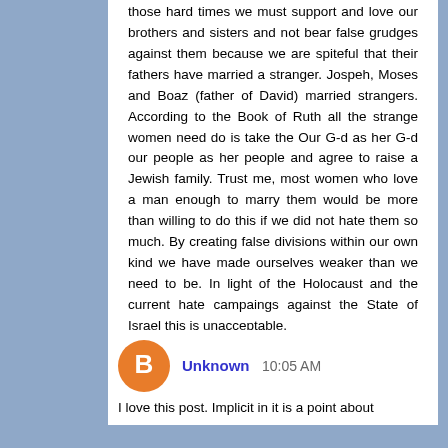those hard times we must support and love our brothers and sisters and not bear false grudges against them because we are spiteful that their fathers have married a stranger. Jospeh, Moses and Boaz (father of David) married strangers. According to the Book of Ruth all the strange women need do is take the Our G-d as her G-d our people as her people and agree to raise a Jewish family. Trust me, most women who love a man enough to marry them would be more than willing to do this if we did not hate them so much. By creating false divisions within our own kind we have made ourselves weaker than we need to be. In light of the Holocaust and the current hate campaings against the State of Israel this is unacceptable.
Reply
Unknown 10:05 AM
I love this post. Implicit in it is a point about